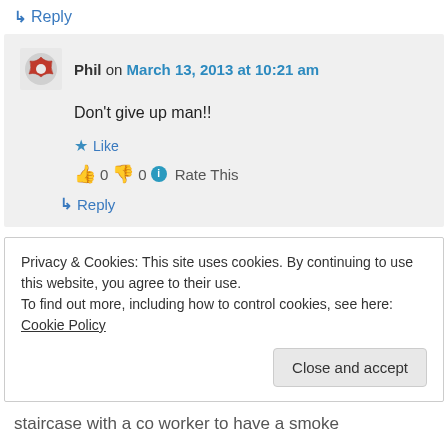↳ Reply
Phil on March 13, 2013 at 10:21 am
Don't give up man!!
★ Like
👍 0 👎 0 ℹ Rate This
↳ Reply
Privacy & Cookies: This site uses cookies. By continuing to use this website, you agree to their use.
To find out more, including how to control cookies, see here: Cookie Policy
Close and accept
staircase with a co worker to have a smoke